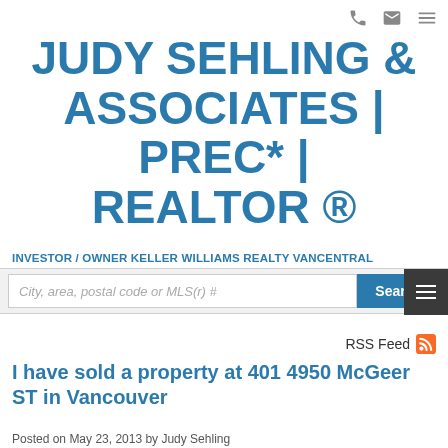JUDY SEHLING & ASSOCIATES | PREC* | REALTOR ®
INVESTOR / OWNER KELLER WILLIAMS REALTY VANCENTRAL
City, area, postal code or MLS(r) #
RSS Feed
I have sold a property at 401 4950 McGeer ST in Vancouver
Posted on May 23, 2013 by Judy Sehling